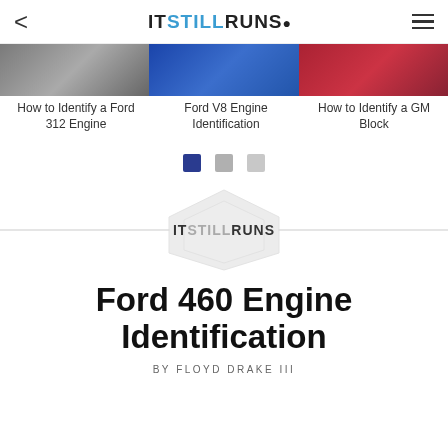IT STILL RUNS.
[Figure (photo): Three related article thumbnails: car engine/person image, blue engine image, red car body image]
How to Identify a Ford 312 Engine
Ford V8 Engine Identification
How to Identify a GM Block
[Figure (logo): ITSTILLRUNS logo with hexagon watermark background]
Ford 460 Engine Identification
BY FLOYD DRAKE III